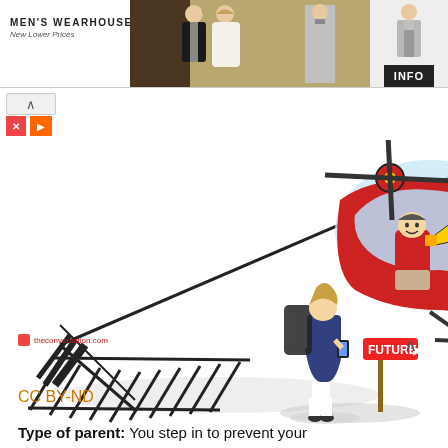[Figure (photo): Men's Wearhouse advertisement banner showing a couple in formalwear and a man in a grey suit, with INFO button]
[Figure (illustration): Cartoon illustration of a helicopter parent: a cartoon man in a red shirt holding a megaphone inside a red helicopter, with a girl student carrying a heavy backpack looking at her phone next to a 'FUTURE' direction sign]
theconversation.com
CC BY-ND
Type of parent: You step in to prevent your